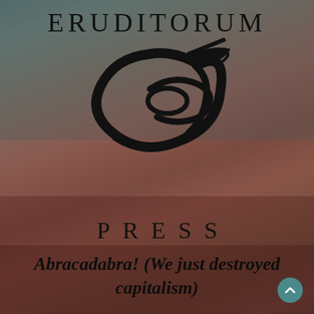[Figure (logo): Eruditorum Press logo: stylized 'EP' calligraphic monogram in black with swooping curves and a quill-like pen element, with the word ERUDITORUM above and PRESS below in spaced serif lettering]
Abracadabra! (We just destroyed capitalism)